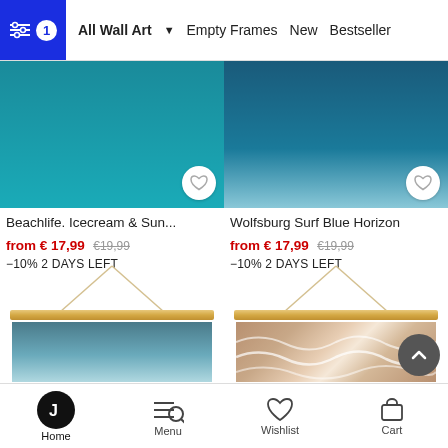All Wall Art | Empty Frames | New | Bestseller
[Figure (photo): Beachlife Icecream & Sun poster with teal background in a wooden frame]
Beachlife. Icecream & Sun...
from € 17,99 €19,99 -10% 2 DAYS LEFT
[Figure (photo): Wolfsburg Surf Blue Horizon poster with deep blue background in a wooden frame]
Wolfsburg Surf Blue Horizon
from € 17,99 €19,99 -10% 2 DAYS LEFT
[Figure (photo): Blue gradient abstract poster hanging with rope on wooden bar]
[Figure (photo): Ocean waves photo poster hanging with rope on wooden bar]
Home | Menu | Wishlist | Cart